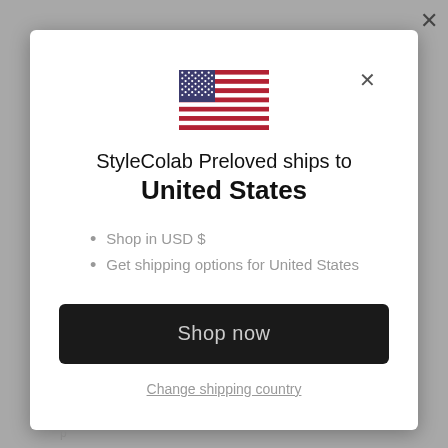[Figure (illustration): US flag emoji/icon showing stars and stripes]
StyleColab Preloved ships to United States
Shop in USD $
Get shipping options for United States
Shop now
Change shipping country